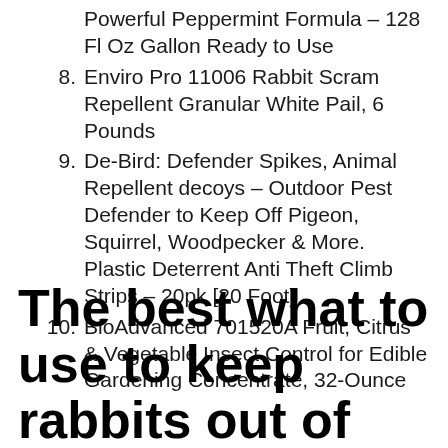Powerful Peppermint Formula – 128 Fl Oz Gallon Ready to Use
8. Enviro Pro 11006 Rabbit Scram Repellent Granular White Pail, 6 Pounds
9. De-Bird: Defender Spikes, Animal Repellent decoys – Outdoor Pest Defender to Keep Off Pigeon, Squirrel, Woodpecker & More. Plastic Deterrent Anti Theft Climb Strips – 20pk [20 Foot]
10. BioAdvanced 701520A Fruit, Citrus & Vegetable Insect Control for Edible Gardening Concentrate, 32-Ounce
The best what to use to keep rabbits out of